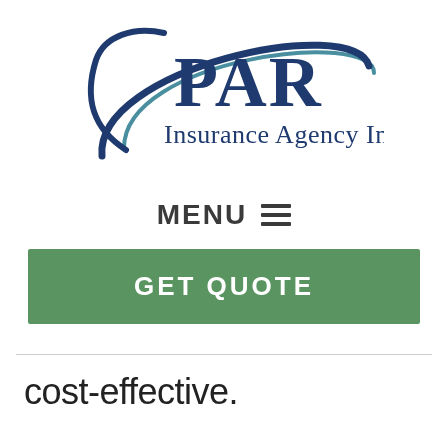[Figure (logo): PAR Insurance Agency Inc. logo with dark blue arc/swoosh design and company name in dark blue serif text]
MENU ☰
GET QUOTE
cost-effective.